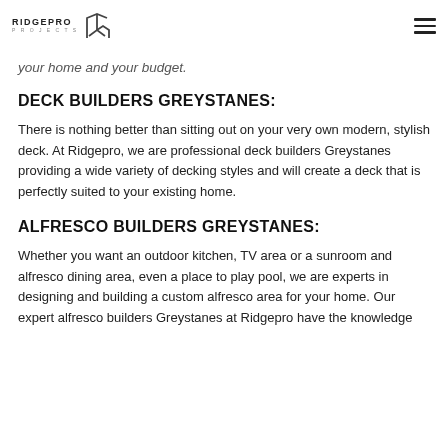RIDGEPRO PROJECTS [logo] [hamburger menu]
your home and your budget.
DECK BUILDERS GREYSTANES:
There is nothing better than sitting out on your very own modern, stylish deck. At Ridgepro, we are professional deck builders Greystanes providing a wide variety of decking styles and will create a deck that is perfectly suited to your existing home.
ALFRESCO BUILDERS GREYSTANES:
Whether you want an outdoor kitchen, TV area or a sunroom and alfresco dining area, even a place to play pool, we are experts in designing and building a custom alfresco area for your home. Our expert alfresco builders Greystanes at Ridgepro have the knowledge